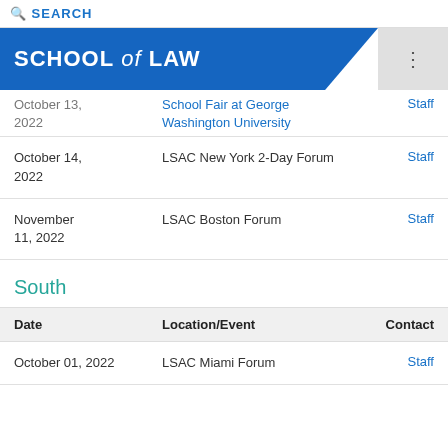SEARCH
SCHOOL of LAW
| Date | Location/Event | Contact |
| --- | --- | --- |
| October 14, 2022 | LSAC New York 2-Day Forum | Staff |
| November 11, 2022 | LSAC Boston Forum | Staff |
South
| Date | Location/Event | Contact |
| --- | --- | --- |
| October 01, 2022 | LSAC Miami Forum | Staff |